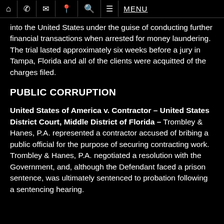HOME | PHONE | EMAIL | LOCATION | SEARCH | MENU
into the United States under the guise of conducting further financial transactions when arrested for money laundering. The trial lasted approximately six weeks before a jury in Tampa, Florida and all of the clients were acquitted of the charges filed.
PUBLIC CORRUPTION
United States of America v. Contractor – United States District Court, Middle District of Florida – Trombley & Hanes, P.A. represented a contractor accused of bribing a public official for the purpose of securing contracting work. Trombley & Hanes, P.A. negotiated a resolution with the Government, and, although the Defendant faced a prison sentence, was ultimately sentenced to probation following a sentencing hearing.